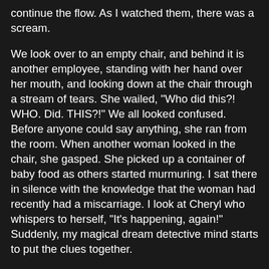continue the flow. As I watched them, there was a scream.
We look over to an empty chair, and behind it is another employee, standing with her hand over her mouth, and looking down at the chair through a stream of tears. She wailed, "Who did this?! WHO. Did. THIS?!" We all looked confused. Before anyone could say anything, she ran from the room. When another woman looked in the chair, she gasped. She picked up a container of baby food as others started murmuring. I sat there in silence with the knowledge that the woman had recently had a miscarriage. I look at Cheryl who whispers to herself, "It's happening, again!" Suddenly, my magical dream detective mind starts to put the clues together.
"Cheryl?", I asked as I turned to her. She looked at me, "Yes?" I start my grilling, "About how many hours do you put into a typical workweek?" Confused, she says, "Oh, uh, I dunno... about 60-ish hours, give or take... but mostly give." I nod, "And do you know the name of the woman that just left?" Still bewildered, "Yeah. That was Connie. She just recently had a miscarriage. Oh, it was tragic. I told my